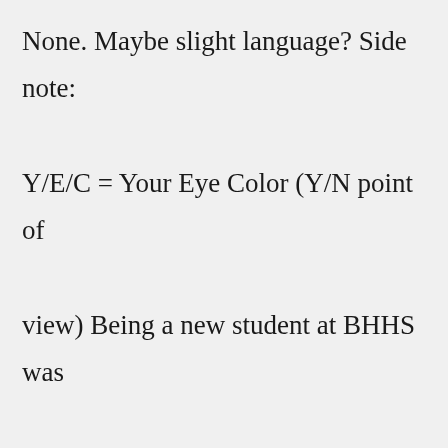None. Maybe slight language? Side note: Y/E/C = Your Eye Color (Y/N point of view) Being a new student at BHHS was difficult. As you weren't familiar with the school,... Read Masky X Reader X Hoodie from the story CreepyPastas X Reader by JRich_2832 Jocelyn with 4477 reads. Daddy Kink and SpankingA hot mist clouded in the manors main bathroom as you sat idly in the bathtub. What got you